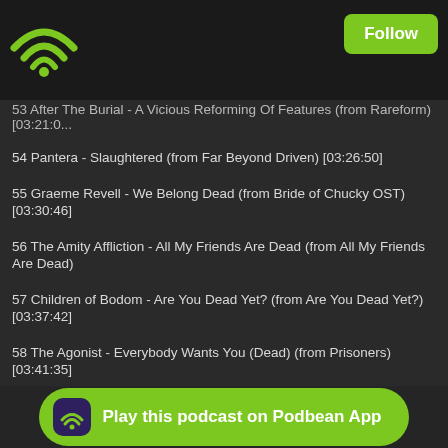Podbean app header with WiFi icon and Follow button
53 After The Burial - A Vicious Reforming Of Features (from Rareform) [03:21:0...
54 Pantera - Slaughtered (from Far Beyond Driven) [03:26:50]
55 Graeme Revell - We Belong Dead (from Bride of Chucky OST) [03:30:46]
56 The Amity Affliction - All My Friends Are Dead (from All My Friends Are Dead)...
57 Children of Bodom - Are You Dead Yet? (from Are You Dead Yet?) [03:37:42]
58 The Agonist - Everybody Wants You (Dead) (from Prisoners) [03:41:35]
59 eevee - I wonder if we're dead (from ep seeds) [03:46:30]
60 Chester Bennington - System (from Queen of the Damned OST) [03:49:05]
61 Von Kaiser - Blood Moon (from Landline) [03:54:01]
62 clipping. - Body & Blood (from CLPPNG) [03:59:23]
63 Tech N9ne - The Dark Side: Psycho Bitch II (feat. Liquid Assassin) (from Kille... [04:03:51]
64 Misfits - Dig Up Her Bones (from American Psycho) [04:09:39]
65 Camille... (from ...Danse Macabre...
Play this podcast on Podbean App